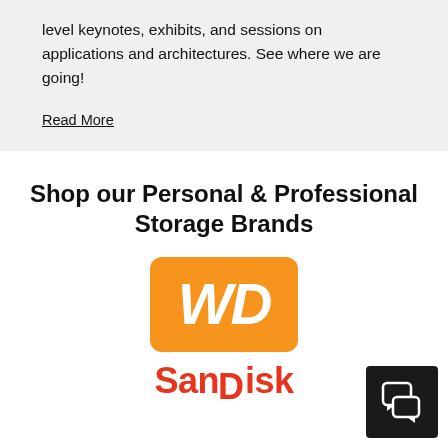level keynotes, exhibits, and sessions on applications and architectures. See where we are going!
Read More
Shop our Personal & Professional Storage Brands
[Figure (logo): WD (Western Digital) logo — white italic WD text on orange rounded rectangle background]
[Figure (logo): SanDisk logo — red bold text reading SanDisk]